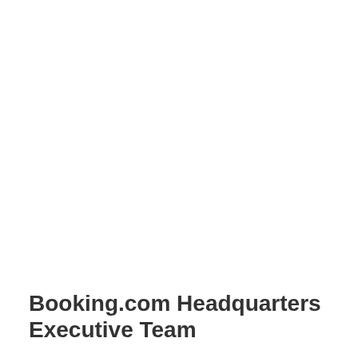Booking.com Headquarters Executive Team